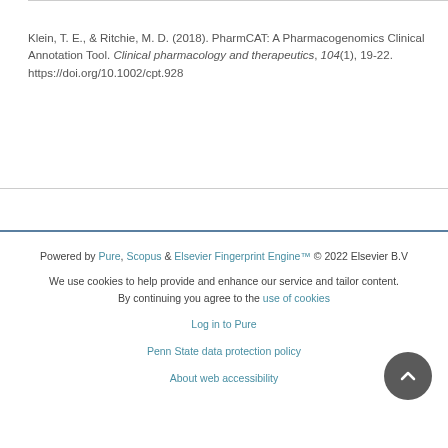Klein, T. E., & Ritchie, M. D. (2018). PharmCAT: A Pharmacogenomics Clinical Annotation Tool. Clinical pharmacology and therapeutics, 104(1), 19-22. https://doi.org/10.1002/cpt.928
Powered by Pure, Scopus & Elsevier Fingerprint Engine™ © 2022 Elsevier B.V
We use cookies to help provide and enhance our service and tailor content. By continuing you agree to the use of cookies
Log in to Pure
Penn State data protection policy
About web accessibility